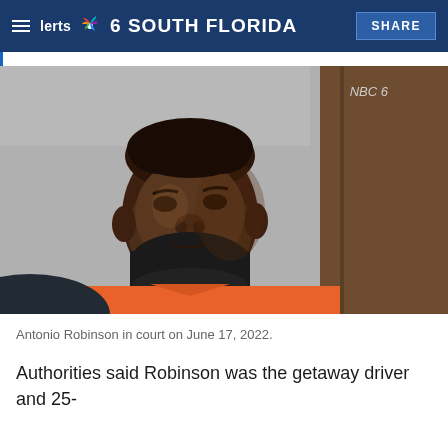NBC 6 SOUTH FLORIDA — SHARE
[Figure (photo): Antonio Robinson, a Black man wearing an orange/salmon inmate shirt and a dark face mask pulled below his chin, standing in a courtroom and looking to the left. Background shows gray walls and wooden door/panel. NBC 6 watermark in top right corner.]
Antonio Robinson in court on June 17, 2022.
Authorities said Robinson was the getaway driver and 25-